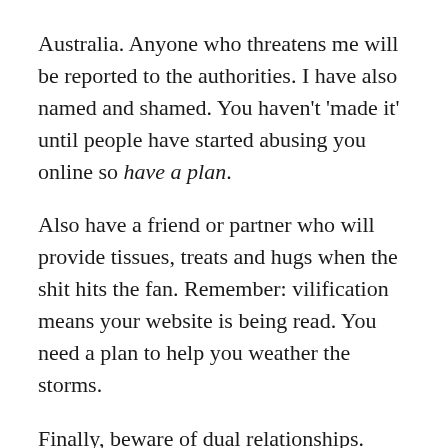Australia. Anyone who threatens me will be reported to the authorities. I have also named and shamed. You haven't 'made it' until people have started abusing you online so have a plan.
Also have a friend or partner who will provide tissues, treats and hugs when the shit hits the fan. Remember: vilification means your website is being read. You need a plan to help you weather the storms.
Finally, beware of dual relationships. Don't review your best friend's story regardless of whether you loved it or hated it. Don't review a book by someone with whom you've had conflict or your valid criticisms will be dismissed as spite; in other words, don't cast your pearls